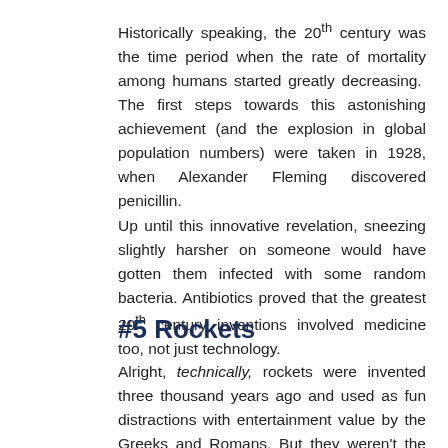Historically speaking, the 20th century was the time period when the rate of mortality among humans started greatly decreasing. The first steps towards this astonishing achievement (and the explosion in global population numbers) were taken in 1928, when Alexander Fleming discovered penicillin.
Up until this innovative revelation, sneezing slightly harsher on someone would have gotten them infected with some random bacteria. Antibiotics proved that the greatest 20th century inventions involved medicine too, not just technology.
#5 Rockets
Alright, technically, rockets were invented three thousand years ago and used as fun distractions with entertainment value by the Greeks and Romans. But they weren't the kind of rockets that we're used to today. The ones